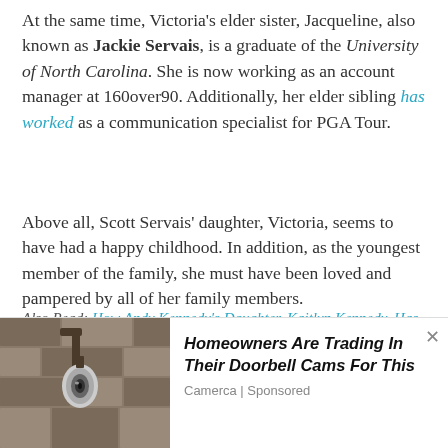At the same time, Victoria's elder sister, Jacqueline, also known as Jackie Servais, is a graduate of the University of North Carolina. She is now working as an account manager at 160over90. Additionally, her elder sibling has worked as a communication specialist for PGA Tour.
Above all, Scott Servais' daughter, Victoria, seems to have had a happy childhood. In addition, as the youngest member of the family, she must have been loved and pampered by all of her family members.
Also Read: How Andy Kennedy's Daughter, Kaitlyn Kennedy, Has Grown Up
A Graduate Of The University Of
[Figure (photo): Advertisement banner showing a security camera mounted on a wall, with ad text 'Homeowners Are Trading In Their Doorbell Cams For This' by Camerca (Sponsored)]